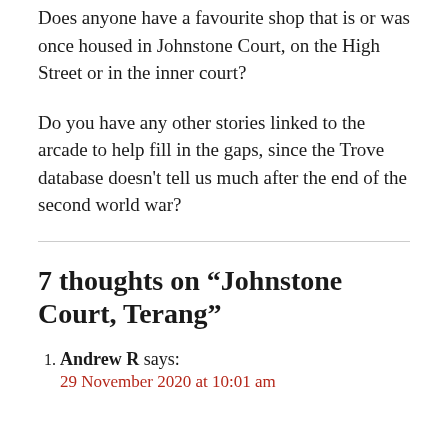Does anyone have a favourite shop that is or was once housed in Johnstone Court, on the High Street or in the inner court?
Do you have any other stories linked to the arcade to help fill in the gaps, since the Trove database doesn’t tell us much after the end of the second world war?
7 thoughts on “Johnstone Court, Terang”
Andrew R says: 29 November 2020 at 10:01 am